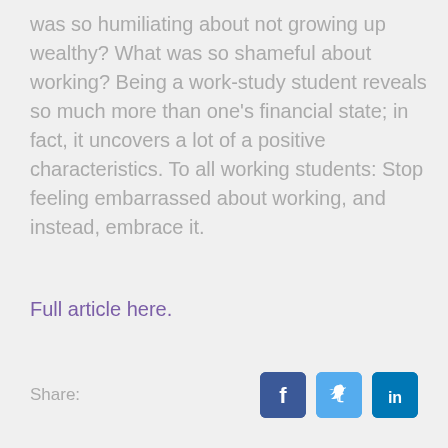was so humiliating about not growing up wealthy? What was so shameful about working? Being a work-study student reveals so much more than one's financial state; in fact, it uncovers a lot of a positive characteristics. To all working students: Stop feeling embarrassed about working, and instead, embrace it.
Full article here.
Share: